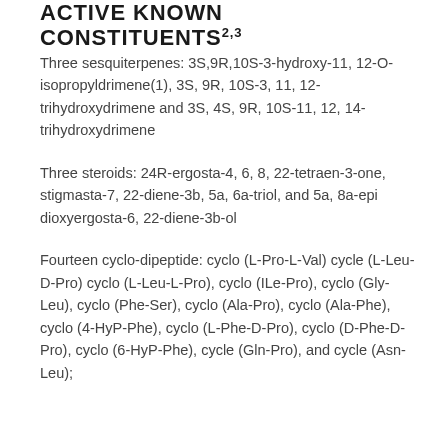ACTIVE KNOWN CONSTITUENTS2,3
Three sesquiterpenes: 3S,9R,10S-3-hydroxy-11, 12-O-isopropyldrimene(1), 3S, 9R, 10S-3, 11, 12-trihydroxydrimene and 3S, 4S, 9R, 10S-11, 12, 14-trihydroxydrimene
Three steroids: 24R-ergosta-4, 6, 8, 22-tetraen-3-one, stigmasta-7, 22-diene-3b, 5a, 6a-triol, and 5a, 8a-epi dioxyergosta-6, 22-diene-3b-ol
Fourteen cyclo-dipeptide: cyclo (L-Pro-L-Val) cycle (L-Leu-D-Pro) cyclo (L-Leu-L-Pro), cyclo (ILe-Pro), cyclo (Gly-Leu), cyclo (Phe-Ser), cyclo (Ala-Pro), cyclo (Ala-Phe), cyclo (4-HyP-Phe), cyclo (L-Phe-D-Pro), cyclo (D-Phe-D-Pro), cyclo (6-HyP-Phe), cycle (Gln-Pro), and cycle (Asn-Leu);